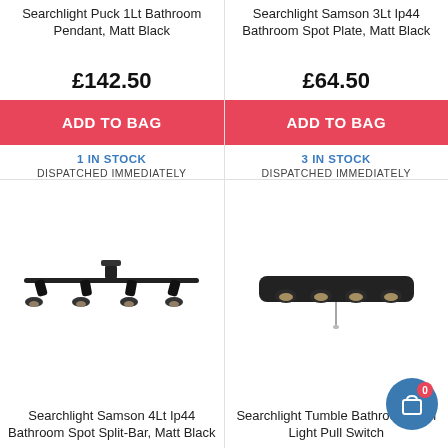Searchlight Puck 1Lt Bathroom Pendant, Matt Black
£142.50
ADD TO BAG
1 IN STOCK
DISPATCHED IMMEDIATELY
Searchlight Samson 3Lt Ip44 Bathroom Spot Plate, Matt Black
£64.50
ADD TO BAG
3 IN STOCK
DISPATCHED IMMEDIATELY
[Figure (photo): Searchlight Samson 4Lt Ip44 Bathroom Spot Split-Bar, Matt Black - horizontal track spotlight with four adjustable spot lights in matte black]
Searchlight Samson 4Lt Ip44 Bathroom Spot Split-Bar, Matt Black
[Figure (photo): Searchlight Tumble Bathroom Wall Light with Pull Switch - four-spot bar light in matte black with pull cord]
Searchlight Tumble Bathroom Wall Light Pull Switch